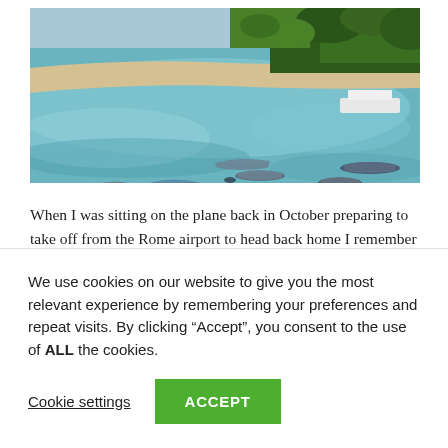[Figure (photo): Aerial or elevated view of a tropical beach with turquoise water, small boats moored near shore, sandy beach, and palm trees/dense tropical vegetation in the background.]
When I was sitting on the plane back in October preparing to take off from the Rome airport to head back home I remember thinking to myself “I have to …
We use cookies on our website to give you the most relevant experience by remembering your preferences and repeat visits. By clicking “Accept”, you consent to the use of ALL the cookies.
Cookie settings
ACCEPT